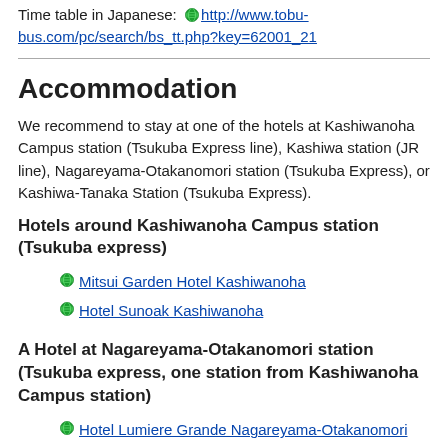Time table in Japanese: http://www.tobu-bus.com/pc/search/bs_tt.php?key=62001_21
Accommodation
We recommend to stay at one of the hotels at Kashiwanoha Campus station (Tsukuba Express line), Kashiwa station (JR line), Nagareyama-Otakanomori station (Tsukuba Express), or Kashiwa-Tanaka Station (Tsukuba Express).
Hotels around Kashiwanoha Campus station (Tsukuba express)
Mitsui Garden Hotel Kashiwanoha
Hotel Sunoak Kashiwanoha
A Hotel at Nagareyama-Otakanomori station (Tsukuba express, one station from Kashiwanoha Campus station)
Hotel Lumiere Grande Nagareyama-Otakanomori
(A new hotel opened on January 27, 2019)